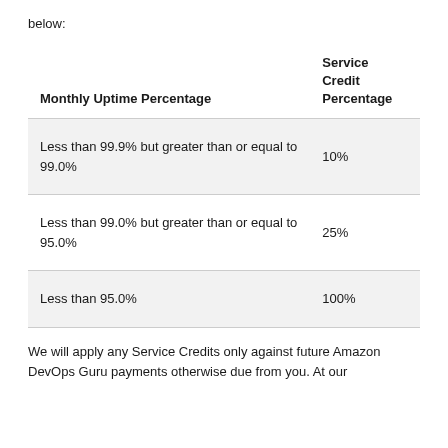below:
| Monthly Uptime Percentage | Service Credit Percentage |
| --- | --- |
| Less than 99.9% but greater than or equal to 99.0% | 10% |
| Less than 99.0% but greater than or equal to 95.0% | 25% |
| Less than 95.0% | 100% |
We will apply any Service Credits only against future Amazon DevOps Guru payments otherwise due from you. At our